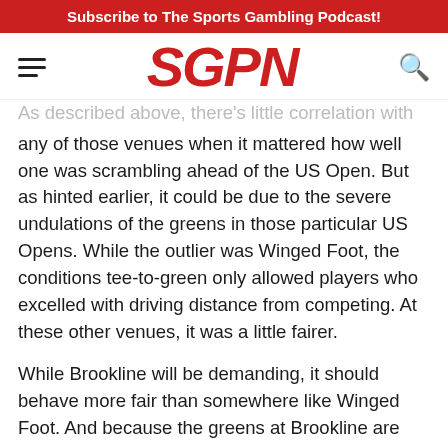Subscribe to The Sports Gambling Podcast!
[Figure (logo): SGPN logo in red italic bold text with hamburger menu icon on left and search icon on right]
As described above, there's little correlation with any of those venues when it mattered how well one was scrambling ahead of the US Open. But as hinted earlier, it could be due to the severe undulations of the greens in those particular US Opens. While the outlier was Winged Foot, the conditions tee-to-green only allowed players who excelled with driving distance from competing. At these other venues, it was a little fairer.
While Brookline will be demanding, it should behave more fair than somewhere like Winged Foot. And because the greens at Brookline are significantly undulated, you can expect scrambling to at least be